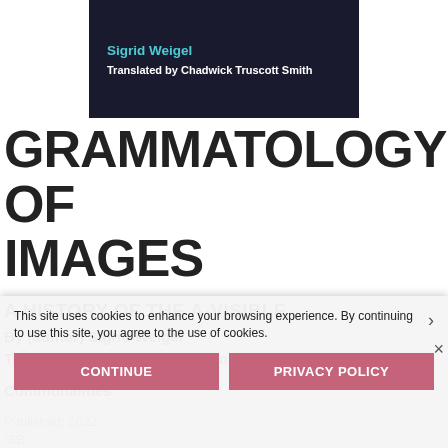[Figure (other): Book cover image with dark background showing author name 'Sigrid Weigel' in teal and 'Translated by Chadwick Truscott Smith' in white text]
GRAMMATOLOGY OF IMAGES
A HISTORY OF THE A-VISIBLE
By (author) Sigrid Weigel
Translated by Chadwick Truscott Smith
Commonalities
Published: 2022
ISBN
Page Count: 320
Illustrations Illustrations
This site uses cookies to enhance your browsing experience. By continuing to use this site, you agree to the use of cookies.
CONTINUE
PRIVACY POLICY